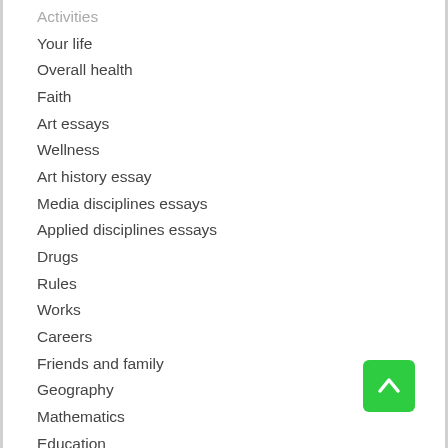Activities
Your life
Overall health
Faith
Art essays
Wellness
Art history essay
Media disciplines essays
Applied disciplines essays
Drugs
Rules
Works
Careers
Friends and family
Geography
Mathematics
Education
Faith and spiritual techniques
Countries
World research
Language
Crucible essays
Legislation
Fashion
Essay
As well as parenting
Physical fitness